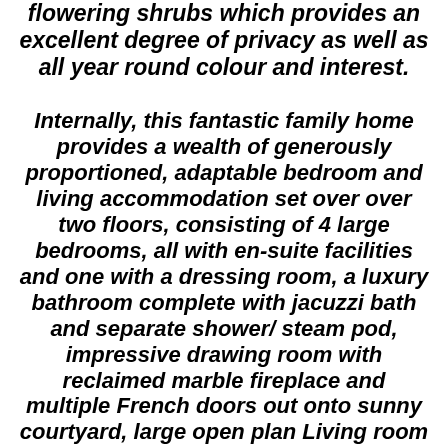flowering shrubs which provides an excellent degree of privacy as well as all year round colour and interest.
Internally, this fantastic family home provides a wealth of generously proportioned, adaptable bedroom and living accommodation set over over two floors, consisting of 4 large bedrooms, all with en-suite facilities and one with a dressing room, a luxury bathroom complete with jacuzzi bath and separate shower/ steam pod, impressive drawing room with reclaimed marble fireplace and multiple French doors out onto sunny courtyard, large open plan Living room and Dining area with Oak King beams and red brick Inglenook fireplace with muli-fuel stove, superb solid Pippy Oak fitted Kitchen with granite work tops and oil fired green Aga range and adjoining Aga combination range cooker. Quality sunroom with under floor heating